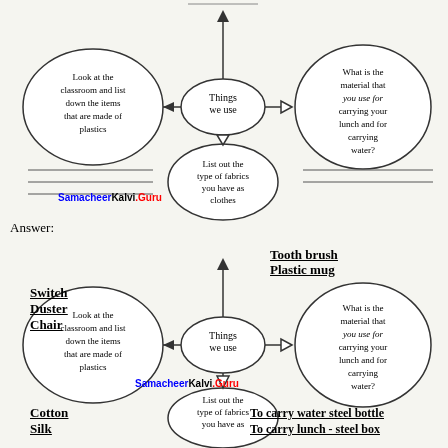[Figure (flowchart): Mind map / concept diagram showing 'Things we use' at center with branches: top (upward arrow to top circle cut off), left (Look at the classroom and list down the items that are made of plastics), right (What is the material that you use for carrying your lunch and for carrying water?), bottom (List out the type of fabrics you have as clothes). Answer lines shown around each bubble.]
SamacheerKalvi.Guru
Answer:
[Figure (flowchart): Answer version of the same mind map with filled answers: Tooth brush / Plastic mug on top-right; Switch, Duster, Chair on left; Cotton, Silk on bottom-left; To carry water steel bottle / To carry lunch - steel box on bottom-right.]
Tooth brush
Plastic mug
Switch
Duster
Chair
Cotton
Silk
To carry water steel bottle
To carry lunch - steel box
SamacheerKalvi.Guru